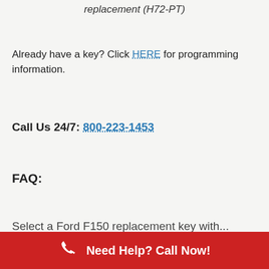replacement (H72-PT)
Already have a key? Click HERE for programming information.
Call Us 24/7: 800-223-1453
FAQ:
Select a Ford F150 replacement key with...
Need Help? Call Now!